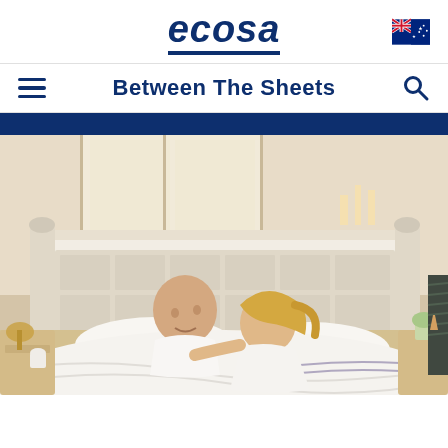[Figure (logo): Ecosa brand logo with dark blue italic text and underline, Australian flag icon to the right]
Between The Sheets
[Figure (photo): A smiling middle-aged couple lying together in a white bed with white bedding, in a bedroom with a white paneled headboard, wooden nightstands, and warm lighting]